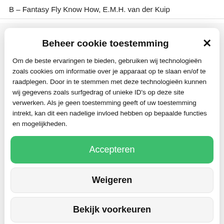B – Fantasy Fly Know How, E.M.H. van der Kuip
Beheer cookie toestemming
Om de beste ervaringen te bieden, gebruiken wij technologieën zoals cookies om informatie over je apparaat op te slaan en/of te raadplegen. Door in te stemmen met deze technologieën kunnen wij gegevens zoals surfgedrag of unieke ID's op deze site verwerken. Als je geen toestemming geeft of uw toestemming intrekt, kan dit een nadelige invloed hebben op bepaalde functies en mogelijkheden.
Accepteren
Weigeren
Bekijk voorkeuren
Cookiebeleid  Privacybeleid